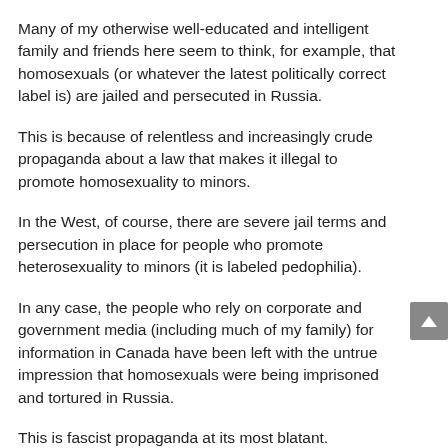Many of my otherwise well-educated and intelligent family and friends here seem to think, for example, that homosexuals (or whatever the latest politically correct label is) are jailed and persecuted in Russia.
This is because of relentless and increasingly crude propaganda about a law that makes it illegal to promote homosexuality to minors.
In the West, of course, there are severe jail terms and persecution in place for people who promote heterosexuality to minors (it is labeled pedophilia).
In any case, the people who rely on corporate and government media (including much of my family) for information in Canada have been left with the untrue impression that homosexuals were being imprisoned and tortured in Russia.
This is fascist propaganda at its most blatant.